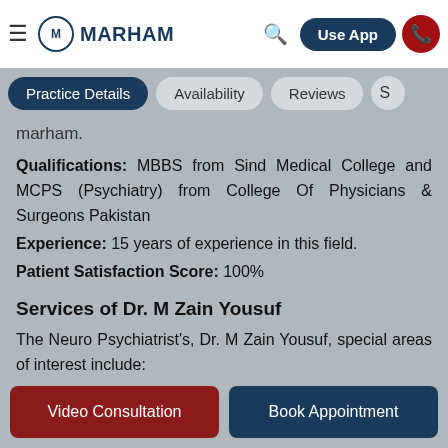MARHAM — Navigation bar with hamburger menu, logo, search, Use App button, phone button
Practice Details | Availability | Reviews | S
marham.
Qualifications: MBBS from Sind Medical College and MCPS (Psychiatry) from College Of Physicians & Surgeons Pakistan
Experience: 15 years of experience in this field.
Patient Satisfaction Score: 100%
Services of Dr. M Zain Yousuf
The Neuro Psychiatrist's, Dr. M Zain Yousuf, special areas of interest include:
Psychotherapy
Video Consultation | Book Appointment